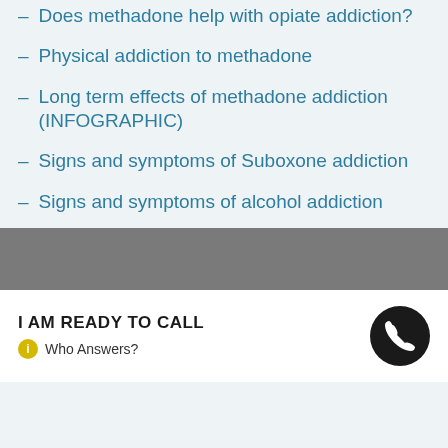Does methadone help with opiate addiction?
Physical addiction to methadone
Long term effects of methadone addiction (INFOGRAPHIC)
Signs and symptoms of Suboxone addiction
Signs and symptoms of alcohol addiction
I AM READY TO CALL  Who Answers?